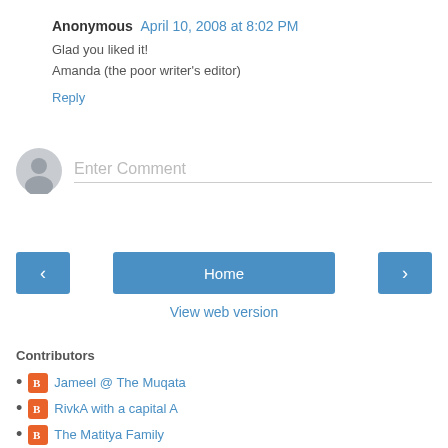Anonymous April 10, 2008 at 8:02 PM
Glad you liked it!
Amanda (the poor writer's editor)
Reply
[Figure (other): Comment input field with user avatar placeholder and 'Enter Comment' placeholder text]
[Figure (other): Navigation buttons: left arrow, Home, right arrow, and View web version link]
Contributors
Jameel @ The Muqata
RivkA with a capital A
The Matitya Family